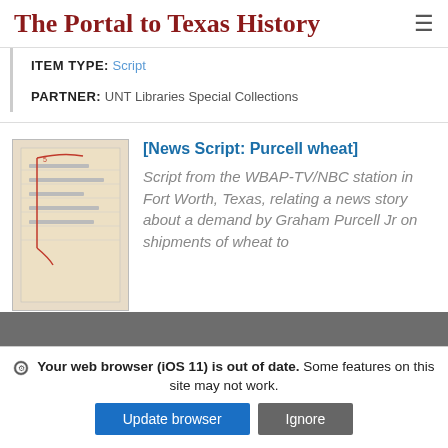The Portal to Texas History
ITEM TYPE: Script
PARTNER: UNT Libraries Special Collections
[News Script: Purcell wheat]
Script from the WBAP-TV/NBC station in Fort Worth, Texas, relating a news story about a demand by Graham Purcell Jr on shipments of wheat to
[Figure (photo): Thumbnail image of a handwritten/typed document page with red markings]
Your web browser (iOS 11) is out of date. Some features on this site may not work.